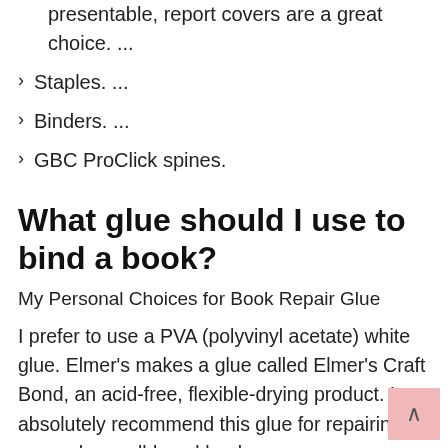presentable, report covers are a great choice. ...
Staples. ...
Binders. ...
GBC ProClick spines.
What glue should I use to bind a book?
My Personal Choices for Book Repair Glue
I prefer to use a PVA (polyvinyl acetate) white glue. Elmer’s makes a glue called Elmer’s Craft Bond, an acid-free, flexible-drying product. I absolutely recommend this glue for repairing every-day, well-loved books.